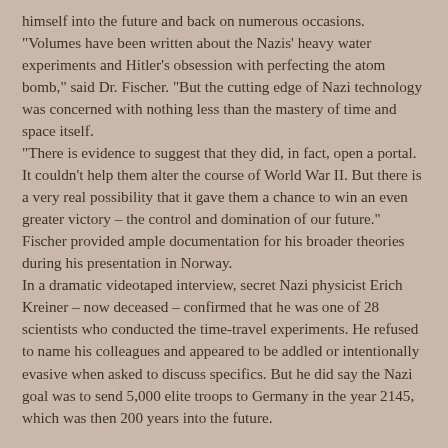himself into the future and back on numerous occasions. "Volumes have been written about the Nazis' heavy water experiments and Hitler's obsession with perfecting the atom bomb," said Dr. Fischer. "But the cutting edge of Nazi technology was concerned with nothing less than the mastery of time and space itself.
"There is evidence to suggest that they did, in fact, open a portal. It couldn't help them alter the course of World War II. But there is a very real possibility that it gave them a chance to win an even greater victory – the control and domination of our future."
Fischer provided ample documentation for his broader theories during his presentation in Norway.
In a dramatic videotaped interview, secret Nazi physicist Erich Kreiner – now deceased – confirmed that he was one of 28 scientists who conducted the time-travel experiments. He refused to name his colleagues and appeared to be addled or intentionally evasive when asked to discuss specifics. But he did say the Nazi goal was to send 5,000 elite troops to Germany in the year 2145, which was then 200 years into the future.